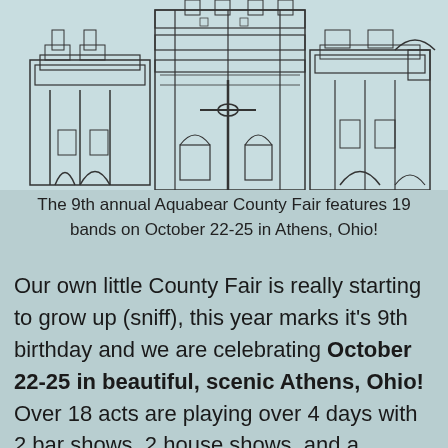[Figure (illustration): Line drawing illustration of a building facade with architectural details including arches, columns, and ornate structures, on a light teal/grey background.]
The 9th annual Aquabear County Fair features 19 bands on October 22-25 in Athens, Ohio!
Our own little County Fair is really starting to grow up (sniff), this year marks it's 9th birthday and we are celebrating October 22-25 in beautiful, scenic Athens, Ohio! Over 18 acts are playing over 4 days with 2 bar shows, 2 house shows, and a experimental music show at a record store.Â THURSDAY, OCTOBER 22